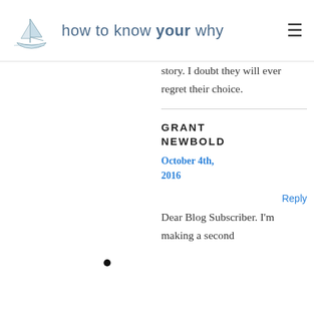how to know your why
story. I doubt they will ever regret their choice.
GRANT NEWBOLD
October 4th, 2016
Reply
Dear Blog Subscriber. I'm making a second